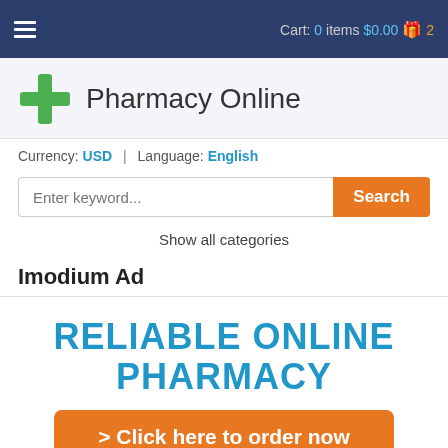Cart: 0 items $0.00 2
Pharmacy Online
Currency: USD | Language: English
Enter keyword... Search
Show all categories
Imodium Ad
RELIABLE ONLINE PHARMACY
> Click here to order now